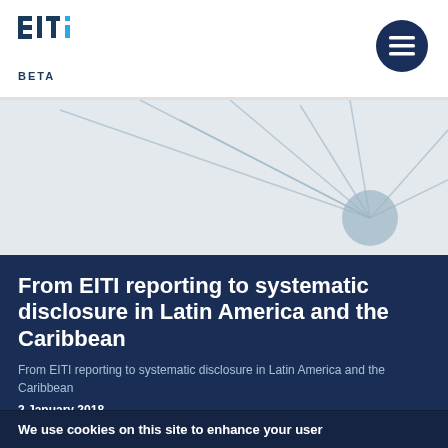EITI BETA
[Figure (illustration): Abstract network/web graphic with lines radiating from a central node, light gray background]
From EITI reporting to systematic disclosure in Latin America and the Caribbean
From EITI reporting to systematic disclosure in Latin America and the Caribbean
2 January 2018
We use cookies on this site to enhance your user